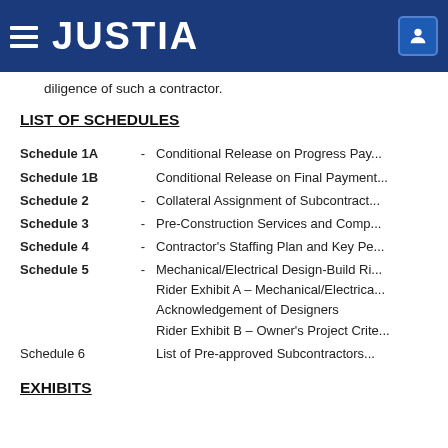JUSTIA
diligence of such a contractor.
LIST OF SCHEDULES
Schedule 1A - Conditional Release on Progress Pay...
Schedule 1B   Conditional Release on Final Payment...
Schedule 2 - Collateral Assignment of Subcontract...
Schedule 3 - Pre-Construction Services and Comp...
Schedule 4 - Contractor's Staffing Plan and Key Pe...
Schedule 5 - Mechanical/Electrical Design-Build Ri...
Rider Exhibit A – Mechanical/Electrica...
Acknowledgement of Designers
Rider Exhibit B – Owner's Project Crite...
Schedule 6   List of Pre-approved Subcontractors...
EXHIBITS